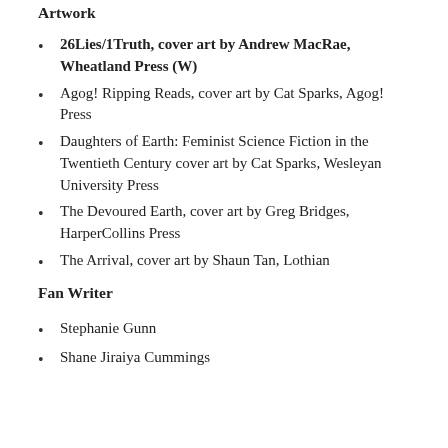Artwork
26Lies/1Truth, cover art by Andrew MacRae, Wheatland Press (W)
Agog! Ripping Reads, cover art by Cat Sparks, Agog! Press
Daughters of Earth: Feminist Science Fiction in the Twentieth Century cover art by Cat Sparks, Wesleyan University Press
The Devoured Earth, cover art by Greg Bridges, HarperCollins Press
The Arrival, cover art by Shaun Tan, Lothian
Fan Writer
Stephanie Gunn
Shane Jiraiya Cummings